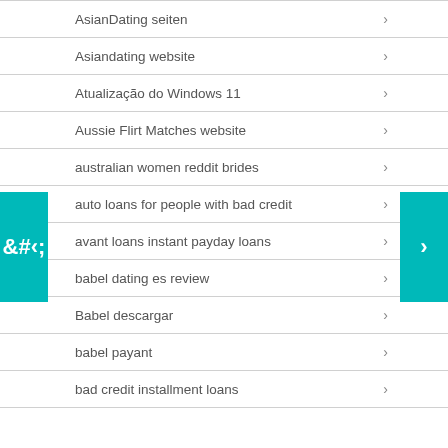AsianDating seiten
Asiandating website
Atualização do Windows 11
Aussie Flirt Matches website
australian women reddit brides
auto loans for people with bad credit
avant loans instant payday loans
babel dating es review
Babel descargar
babel payant
bad credit installment loans